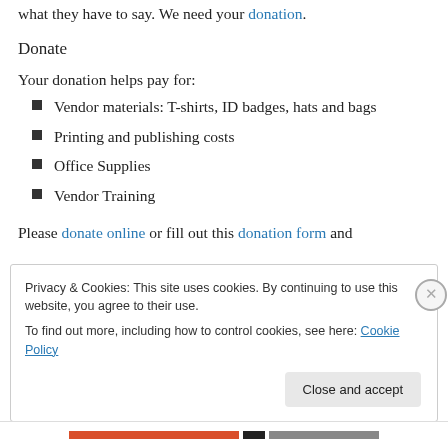what they have to say. We need your donation.
Donate
Your donation helps pay for:
Vendor materials: T-shirts, ID badges, hats and bags
Printing and publishing costs
Office Supplies
Vendor Training
Please donate online or fill out this donation form and
Privacy & Cookies: This site uses cookies. By continuing to use this website, you agree to their use. To find out more, including how to control cookies, see here: Cookie Policy
Close and accept